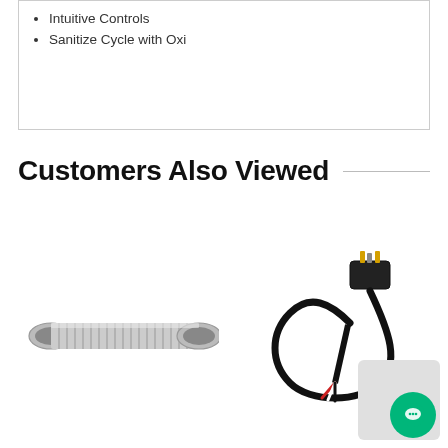Intuitive Controls
Sanitize Cycle with Oxi
Customers Also Viewed
[Figure (photo): A metal flexible cylindrical hose/duct connector, silver colored]
[Figure (photo): A black electrical power cord with a multi-prong plug on one end and bare wire ends on the other]